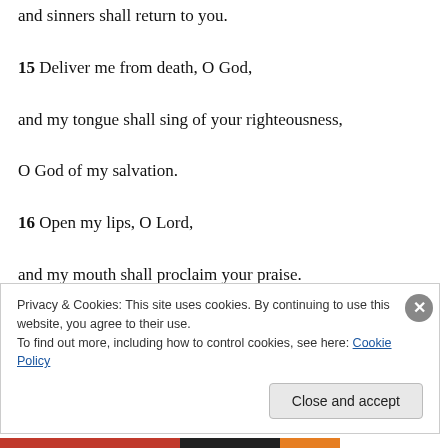and sinners shall return to you.
15 Deliver me from death, O God,
and my tongue shall sing of your righteousness,
O God of my salvation.
16 Open my lips, O Lord,
and my mouth shall proclaim your praise.
17  Had you desired it, I would have offered sacrifice,
Privacy & Cookies: This site uses cookies. By continuing to use this website, you agree to their use. To find out more, including how to control cookies, see here: Cookie Policy